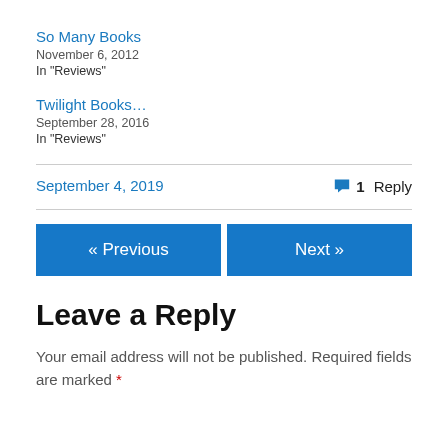So Many Books
November 6, 2012
In "Reviews"
Twilight Books…
September 28, 2016
In "Reviews"
September 4, 2019
1 Reply
« Previous
Next »
Leave a Reply
Your email address will not be published. Required fields are marked *